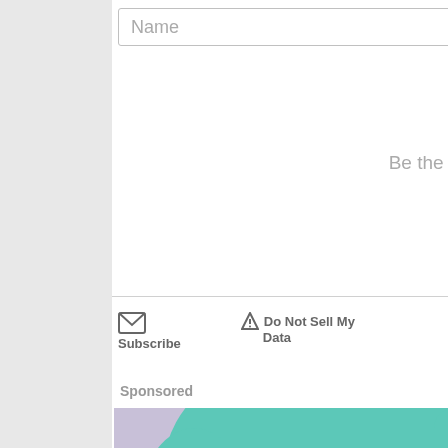Name
Be the first to comment.
Subscribe
Do Not Sell My Data
DISQUS
Sponsored
[Figure (illustration): Medical illustration showing a person in teal scrubs with a large red arrow pointing downward toward the hip/groin area, suggesting a medical instruction or procedure on a purple background.]